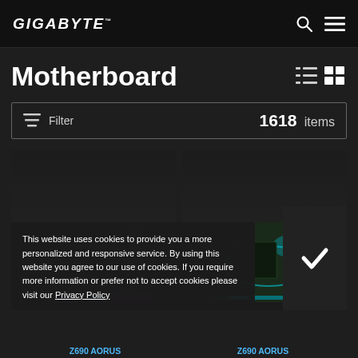GIGABYTE™
Motherboard
Filter   1618 items
[Figure (screenshot): Two motherboard product cards shown in a dark grid layout; left card shows an AORUS board with colorful RGB lighting, right card shows another AORUS board with teal RGB lighting]
This website uses cookies to provide you a more personalized and responsive service. By using this website you agree to our use of cookies. If you require more information or prefer not to accept cookies please visit our Privacy Policy
Z690 AORUS   Z690 AORUS